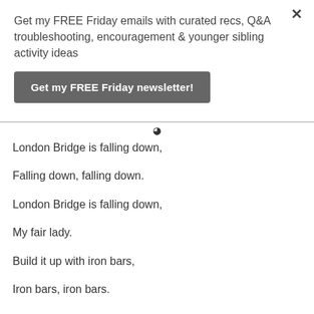Get my FREE Friday emails with curated recs, Q&A troubleshooting, encouragement & younger sibling activity ideas
Get my FREE Friday newsletter!
London Bridge is falling down,
Falling down, falling down.
London Bridge is falling down,
My fair lady.
Build it up with iron bars,
Iron bars, iron bars.